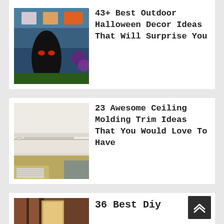[Figure (photo): Outdoor Halloween decoration showing a large spooky tree with glowing eyes, pumpkins, and decorative ghost banners on a house in the background]
43+ Best Outdoor Halloween Decor Ideas That Will Surprise You
[Figure (photo): Interior ceiling with white crown molding trim in a corner, walls show yellow-green lower half and white upper half]
23 Awesome Ceiling Molding Trim Ideas That You Would Love To Have
[Figure (photo): DIY room interior with warm brown tones]
36 Best Diy